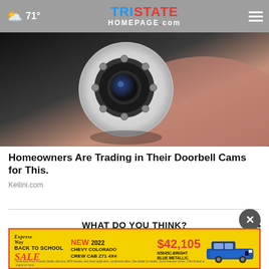71° | TRISTATE HOMEPAGE.com
[Figure (photo): Close-up of a hand holding a white round security/surveillance camera with multiple infrared LEDs around the lens]
Homeowners Are Trading in Their Doorbell Cams for This.
Keilini.com
WHAT DO YOU THINK?
Which s
[Figure (other): Advertisement banner: Express Way Back to School SALE - NEW 2022 CHEVY COLORADO CREW CAB Z71 4X4 $42,105 N5645C-BRIGHT BLUE METALLIC]